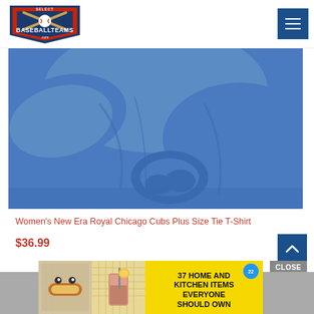[Figure (logo): SelectBaseballTeams.com logo — shield with baseball motif, red and navy blue]
[Figure (photo): Blue women's tie-front T-shirt, cropped view showing the knotted hem detail]
Women's New Era Royal Chicago Cubs Plus Size Tie T-Shirt
$36.99
[Figure (screenshot): Advertisement banner: '37 HOME AND KITCHEN ITEMS EVERYONE SHOULD OWN' on yellow background with food and drink photos and a 22-minute countdown]
CLOSE